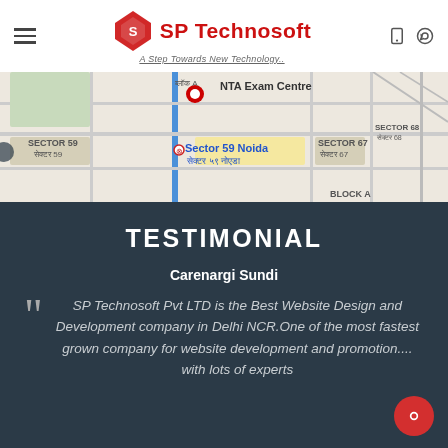SP Technosoft – A Step Towards New Technology..
[Figure (map): Google Maps screenshot showing Sector 59 Noida area with NTA Exam Centre marker, surrounding sectors 67, 68, and Block A visible]
TESTIMONIAL
Carenargi Sundi
SP Technosoft Pvt LTD is the Best Website Design and Development company in Delhi NCR.One of the most fastest grown company for website development and promotion.... with lots of experts